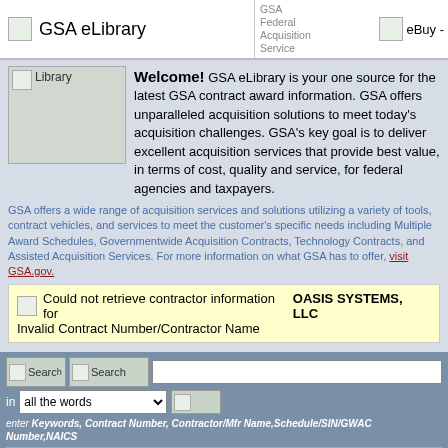GSA eLibrary | GSA Federal Acquisition Service | eBuy -
Welcome! GSA eLibrary is your one source for the latest GSA contract award information. GSA offers unparalleled acquisition solutions to meet today's acquisition challenges. GSA's key goal is to deliver excellent acquisition services that provide best value, in terms of cost, quality and service, for federal agencies and taxpayers.
GSA offers a wide range of acquisition services and solutions utilizing a variety of tools, contract vehicles, and services to meet the customer's specific needs including Multiple Award Schedules, Governmentwide Acquisition Contracts, Technology Contracts, and Assisted Acquisition Services. For more information on what GSA has to offer, visit GSA.gov.
Could not retrieve contractor information for OASIS SYSTEMS, LLC Invalid Contract Number/Contractor Name
Search in all the words
enter Keywords, Contract Number, Contractor/Mfr Name,Schedule/SIN/GWAC Number,NAICS
Contractor Directory (a-z)    Total Solution Search
Category Guide
Facilities    Furniture & Furnishings